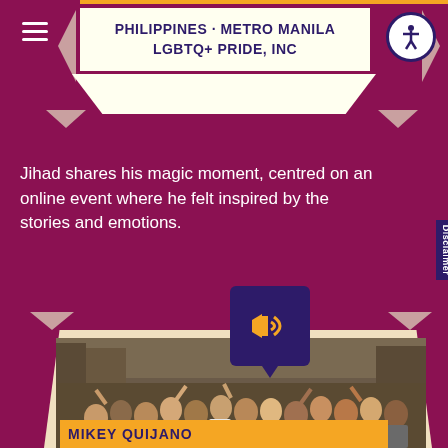PHILIPPINES · METRO MANILA LGBTQ+ PRIDE, INC
Jihad shares his magic moment, centred on an online event where he felt inspired by the stories and emotions.
[Figure (photo): Speaker/audio icon in a dark purple box with a speech bubble pointer]
[Figure (photo): Large group of people gathered in a street in the Philippines]
MIKEY QUIJANO